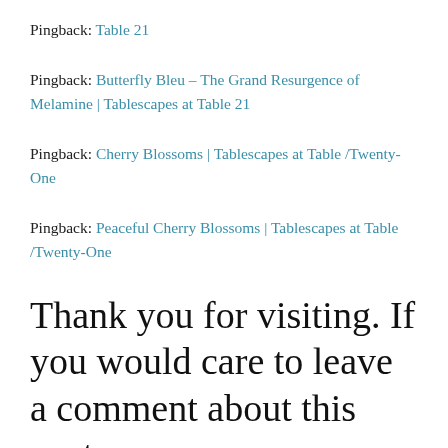Pingback: Table 21
Pingback: Butterfly Bleu – The Grand Resurgence of Melamine | Tablescapes at Table 21
Pingback: Cherry Blossoms | Tablescapes at Table /Twenty-One
Pingback: Peaceful Cherry Blossoms | Tablescapes at Table /Twenty-One
Thank you for visiting. If you would care to leave a comment about this post,